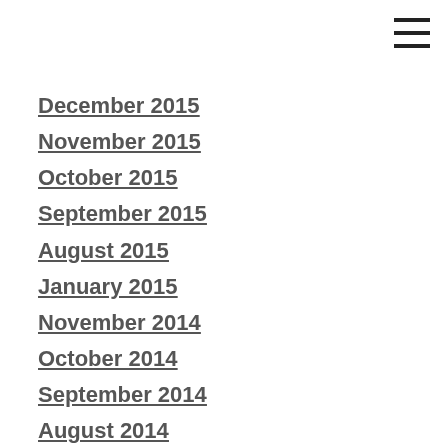December 2015
November 2015
October 2015
September 2015
August 2015
January 2015
November 2014
October 2014
September 2014
August 2014
July 2014
June 2014
May 2014
April 2014
March 2014
December 2013
October 2013